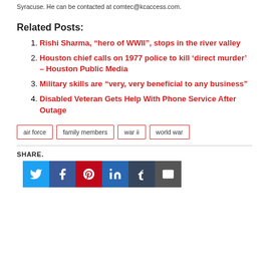Syracuse. He can be contacted at comtec@kcaccess.com.
Related Posts:
Rishi Sharma, “hero of WWII”, stops in the river valley
Houston chief calls on 1977 police to kill ‘direct murder’ – Houston Public Media
Military skills are “very, very beneficial to any business”
Disabled Veteran Gets Help With Phone Service After Outage
air force  family members  war ii  world war
SHARE.